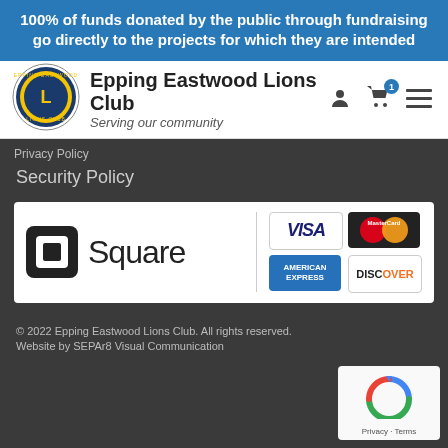100% of funds donated by the public through fundraising go directly to the projects for which they are intended
[Figure (logo): Epping Eastwood Lions Club circular logo with lion emblem]
Epping Eastwood Lions Club
Serving our community
Privacy Policy
Security Policy
[Figure (logo): Square payment logo and credit card logos: Visa, MasterCard, American Express, Discover]
© 2022 Epping Eastwood Lions Club. All rights reserved.
Website by SEPAr8 Visual Communication
[Figure (other): Google reCAPTCHA badge showing Privacy and Terms links]